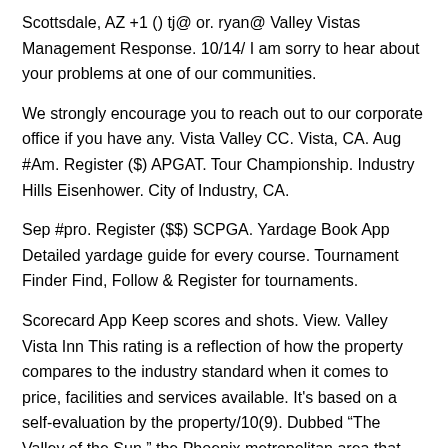Scottsdale, AZ +1 () tj@ or. ryan@ Valley Vistas Management Response. 10/14/ I am sorry to hear about your problems at one of our communities.
We strongly encourage you to reach out to our corporate office if you have any. Vista Valley CC. Vista, CA. Aug #Am. Register ($) APGAT. Tour Championship. Industry Hills Eisenhower. City of Industry, CA.
Sep #pro. Register ($$) SCPGA. Yardage Book App Detailed yardage guide for every course. Tournament Finder Find, Follow & Register for tournaments.
Scorecard App Keep scores and shots. View. Valley Vista Inn This rating is a reflection of how the property compares to the industry standard when it comes to price, facilities and services available. It's based on a self-evaluation by the property/10(9). Dubbed “The Valley of the Sun,” the Phoenix metropolitan area that Peoria belongs to is in close proximity to Arizona’s many natural wonders and areas of spectacular beauty and scope.
Go on a hiking exploration through the red rocks of Sedona, past the